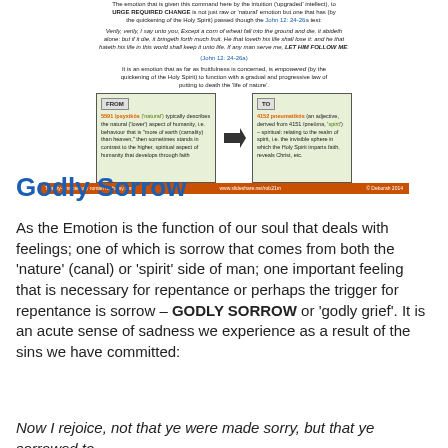[Figure (infographic): Diagram showing the concept of upgrading from psychikos (natural/lower aspect of humanity) to pneumatikos (spiritual), with a Bible verse from John 12:24-26a and arrows indicating the transformation. Includes orange footer bar with website references.]
Godly Sorrow
As the Emotion is the function of our soul that deals with feelings; one of which is sorrow that comes from both the 'nature' (canal) or 'spirit' side of man; one important feeling that is necessary for repentance or perhaps the trigger for repentance is sorrow – GODLY SORROW or 'godly grief'. It is an acute sense of sadness we experience as a result of the sins we have committed:
Now I rejoice, not that ye were made sorry, but that ye sorrowed to